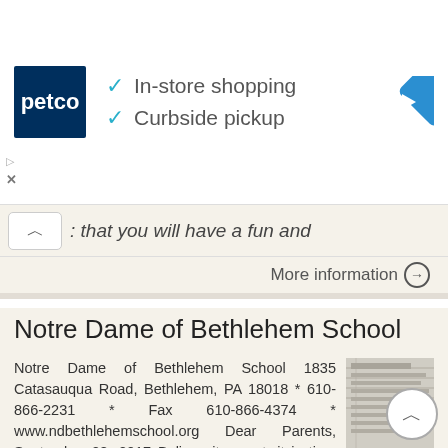[Figure (screenshot): Petco advertisement banner with logo, checkmarks for In-store shopping and Curbside pickup, and a navigation arrow icon]
that you will have a fun and
More information →
Notre Dame of Bethlehem School
Notre Dame of Bethlehem School 1835 Catasauqua Road, Bethlehem, PA 18018 * 610-866-2231 * Fax 610-866-4374 * www.ndbethlehemschool.org Dear Parents, September 28, 2017 Believe it or not, it is time once
More information →
Gospel Alliance Church
Gospel Alliance Church Gospel Alliance